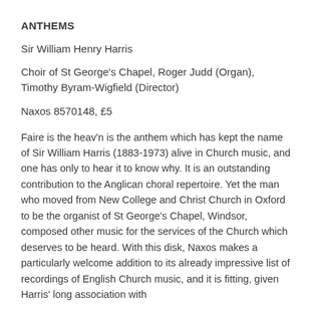ANTHEMS
Sir William Henry Harris
Choir of St George's Chapel, Roger Judd (Organ), Timothy Byram-Wigfield (Director)
Naxos 8570148, £5
Faire is the heav'n is the anthem which has kept the name of Sir William Harris (1883-1973) alive in Church music, and one has only to hear it to know why. It is an outstanding contribution to the Anglican choral repertoire. Yet the man who moved from New College and Christ Church in Oxford to be the organist of St George's Chapel, Windsor, composed other music for the services of the Church which deserves to be heard. With this disk, Naxos makes a particularly welcome addition to its already impressive list of recordings of English Church music, and it is fitting, given Harris' long association with